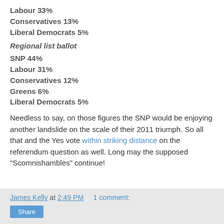Labour 33%
Conservatives 13%
Liberal Democrats 5%
Regional list ballot
SNP 44%
Labour 31%
Conservatives 12%
Greens 6%
Liberal Democrats 5%
Needless to say, on those figures the SNP would be enjoying another landslide on the scale of their 2011 triumph. So all that and the Yes vote within striking distance on the referendum question as well. Long may the supposed "Scomnishambles" continue!
James Kelly at 2:49 PM   1 comment: